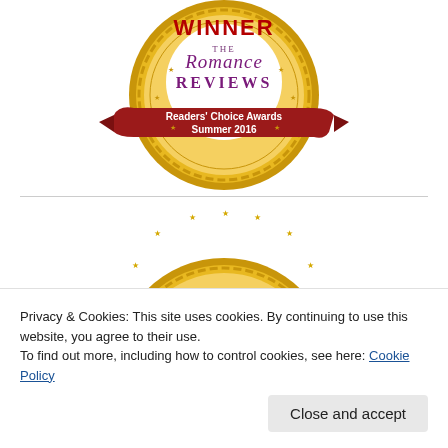[Figure (logo): Gold medal award badge for 'Winner – The Romance Reviews, Readers' Choice Awards Summer 2016' with a red ribbon banner, partially cropped at top]
[Figure (logo): Second gold medal award badge, partially visible, cropped – showing only the top arc of the gold medallion with star decorations]
Privacy & Cookies: This site uses cookies. By continuing to use this website, you agree to their use.
To find out more, including how to control cookies, see here: Cookie Policy
Close and accept